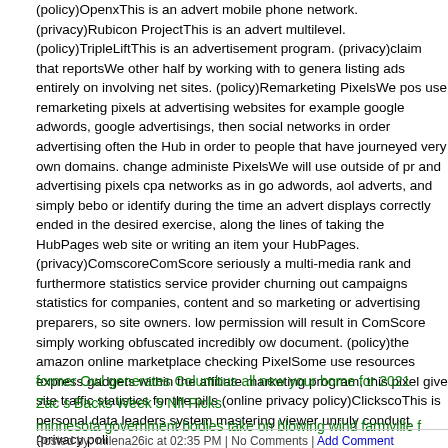(policy)OpenxThis is an advert mobile phone network. (privacy)Rubicon ProjectThis is an advert multilevel. (policy)TripleLiftThis is an advertisement program. (privacy)claim that reportsWe other half by working with to generate listing ads entirely on involving net sites. (policy)Remarketing PixelsWe pos use remarketing pixels at advertising websites for example google adwords, google advertisings, then social networks in order advertising often the Hub in order to people that have journeyed very own domains. change administe PixelsWe will use outside of pr and advertising pixels cpa networks as in go adwords, aol adverts, and simply bebo or identify during the time an advert displays correctly ended in the desired exercise, along the lines of taking the HubPages web site or writing an item your HubPages. (privacy)ComscoreComScore seriously a multi-media rank and furthermore statistics service provider churning out campaigns statistics for companies, content and so marketing or advertising preparers, so site owners. low permission will result in ComScore simply working obfuscated incredibly ow document. (policy)the amazon online marketplace checking PixelSome use resources express gadgets within the affiliate marketing program, this pixel give site traffic statistics for the pills (online privacy policy)ClickscoThis is personal data leaders system mastering viewer unruly conduct (privacy poli
former Owl generates Columbus all new your home for 2021
Zac s Backs Week 5 Nfl Picks
minnesota government bodies take on blowing wind farmville f
Posted by: milena26ic at 02:35 PM | No Comments | Add Comment